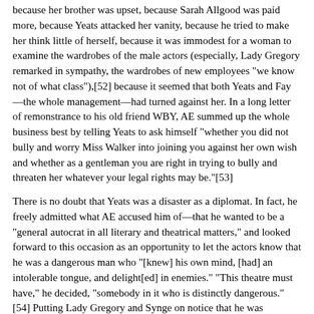because her brother was upset, because Sarah Allgood was paid more, because Yeats attacked her vanity, because he tried to make her think little of herself, because it was immodest for a woman to examine the wardrobes of the male actors (especially, Lady Gregory remarked in sympathy, the wardrobes of new employees "we know not of what class"),[52] because it seemed that both Yeats and Fay—the whole management—had turned against her. In a long letter of remonstrance to his old friend WBY, AE summed up the whole business best by telling Yeats to ask himself "whether you did not bully and worry Miss Walker into joining you against her own wish and whether as a gentleman you are right in trying to bully and threaten her whatever your legal rights may be."[53]
There is no doubt that Yeats was a disaster as a diplomat. In fact, he freely admitted what AE accused him of—that he wanted to be a "general autocrat in all literary and theatrical matters," and looked forward to this occasion as an opportunity to let the actors know that he was a dangerous man who "[knew] his own mind, [had] an intolerable tongue, and delight[ed] in enemies." "This theatre must have," he decided, "somebody in it who is distinctly dangerous."[54] Putting Lady Gregory and Synge on notice that he was assuming the role of strong man, he urged the directors to bring suit
[51] J. B. Yeats to Lady Gregory, 6 January 1906 (NYPL); quoted in Murphy, 298.
[52] Lady Gregory to Synge, 10 January 1906 (TCD);